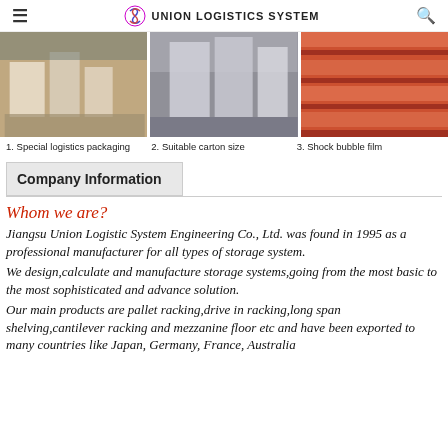UNION LOGISTICS SYSTEM
[Figure (photo): Three warehouse photos showing special logistics packaging, suitable carton size, and shock bubble film]
1. Special logistics packaging   2. Suitable carton size   3. Shock bubble film
Company Information
Whom we are?
Jiangsu Union Logistic System Engineering Co., Ltd. was found in 1995 as a professional manufacturer for all types of storage system. We design,calculate and manufacture storage systems,going from the most basic to the most sophisticated and advance solution. Our main products are pallet racking,drive in racking,long span shelving,cantilever racking and mezzanine floor etc and have been exported to many countries like Japan, Germany, France, Australia